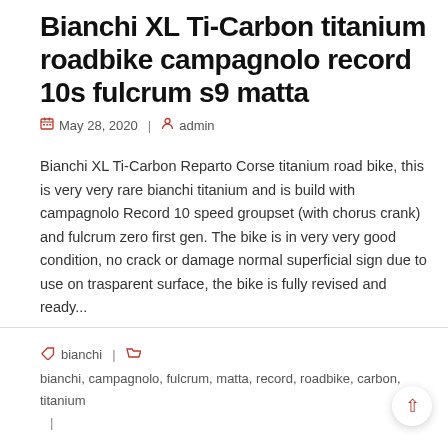Bianchi XL Ti-Carbon titanium roadbike campagnolo record 10s fulcrum s9 matta
May 28, 2020  |  admin
Bianchi XL Ti-Carbon Reparto Corse titanium road bike, this is very very rare bianchi titanium and is build with campagnolo Record 10 speed groupset (with chorus crank) and fulcrum zero first gen. The bike is in very very good condition, no crack or damage normal superficial sign due to use on trasparent surface, the bike is fully revised and ready...
Read more →
bianchi  |  bianchi, campagnolo, fulcrum, matta, record, roadbike, carbon, titanium  |